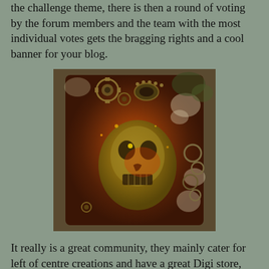the challenge theme, there is then a round of voting by the forum members and the team with the most individual votes gets the bragging rights and a cool banner for your blog.
[Figure (photo): A heavily textured mixed media art piece featuring a skull embossed on a rusted, distressed surface with gears, metal embellishments, circular cutouts, and cracked paint in red, brown, and gold tones, photographed on a wooden surface.]
It really is a great community, they mainly cater for left of centre creations and have a great Digi store, but everyone is made to feel welcome, there is loads going on, they have monthly swaps, tutorials and challenges. Head on over and